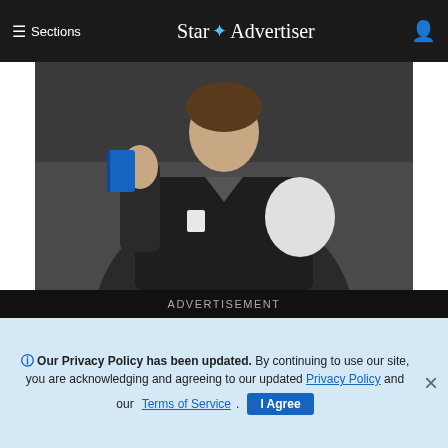≡ Sections   Star ✦ Advertiser   👤
[Figure (photo): Alaska state Sen. Lora Reinbold holding a copy of the Alaska Constitution during a committee hearing, wearing dark jacket with white patch visible]
ASSOCIATED PRESS
Alaska state Sen. Lora Reinbold, an Eagle River Republican, holds a copy of the Alaska Constitution during a committee hearing in Juneau, Alaska, in January. Alaska Airlines has banned the Alaska state senator for refusing to follow mask requirements. Last week Reinbold was recorded in Juneau International Airport arguing with Alaska Airlines staff about mask policies. A video posted to social media appears to show airline staff telling Reinbold her mask must cover her nose and mouth. Reinbold has been a vocal opponent to
ADVERTISEMENT
ℹ Our Privacy Policy has been updated. By continuing to use our site, you are acknowledging and agreeing to our updated Privacy Policy and our Terms of Service. I Agree